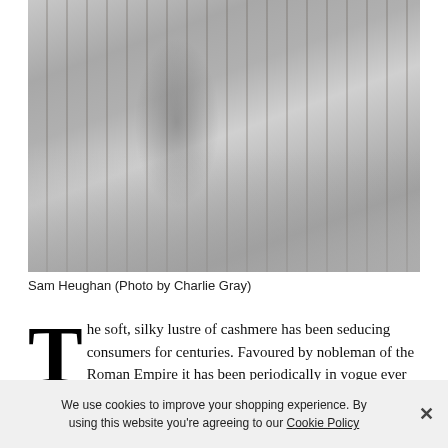[Figure (photo): A man (Sam Heughan) sitting on a wooden dock/pier over water, wearing a white top and dark trousers with ankle boots. Misty/overcast outdoor setting.]
Sam Heughan (Photo by Charlie Gray)
The soft, silky lustre of cashmere has been seducing consumers for centuries. Favoured by nobleman of the Roman Empire it has been periodically in vogue ever since; Beau Brummel popularized white cashmere waistcoats for men in the
We use cookies to improve your shopping experience. By using this website you're agreeing to our Cookie Policy